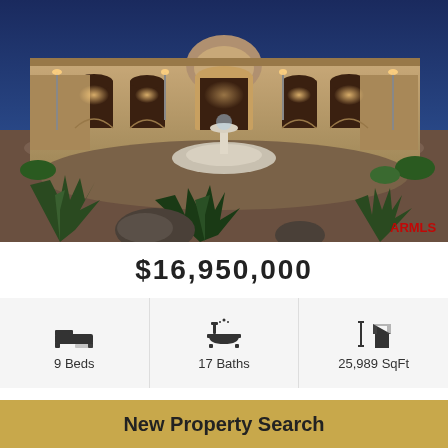[Figure (photo): Luxury desert estate at dusk — Spanish/Mediterranean-style mansion with arched colonnade, central dome, large circular fountain in brick courtyard, desert landscaping with agave plants and boulders in foreground, warm amber lighting, ARMLS watermark in lower right]
$16,950,000
9 Beds  17 Baths  25,989 SqFt
Active | MLS # 6409935 | Single Family - Detached | Price Type --
Save Property  View Property
New Property Search